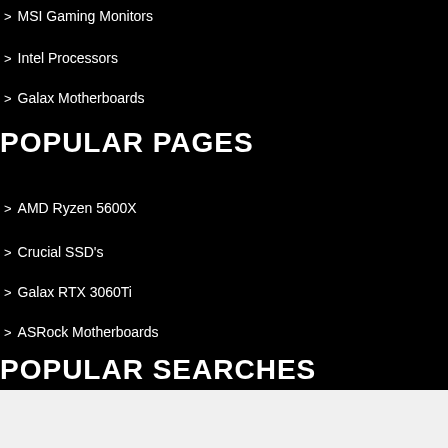> MSI Gaming Monitors
> Intel Processors
> Galax Motherboards
POPULAR PAGES
> AMD Ryzen 5600X
> Crucial SSD's
> Galax RTX 3060Ti
> ASRock Motherboards
POPULAR SEARCHES
> AMD Ryzen 5600X